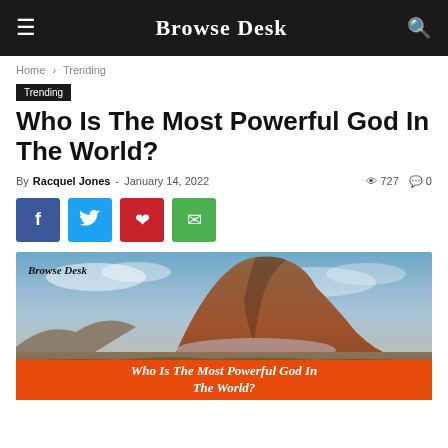Browse Desk
Home › Trending
Trending
Who Is The Most Powerful God In The World?
By Racquel Jones - January 14, 2022  727  0
[Figure (screenshot): Mountain landscape with dramatic rocky peak and cloudy sky, overlaid with orange caption bar reading 'Who Is The Most Powerful God In The World?' and Browse Desk watermark]